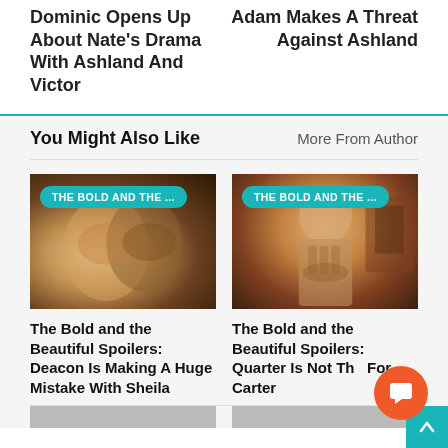Dominic Opens Up About Nate’s Drama With Ashland And Victor
Adam Makes A Threat Against Ashland
You Might Also Like
More From Author
[Figure (photo): Two people kissing, scene from The Bold and the Beautiful]
THE BOLD AND THE ...
The Bold and the Beautiful Spoilers: Deacon Is Making A Huge Mistake With Sheila
[Figure (photo): Shirtless man, scene from The Bold and the Beautiful]
THE BOLD AND THE ...
The Bold and the Beautiful Spoilers: Quarter Is Not The For Carter